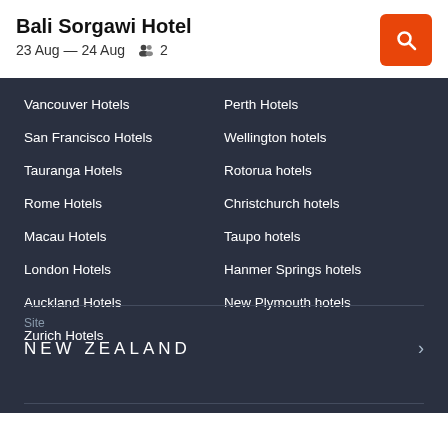Bali Sorgawi Hotel
23 Aug — 24 Aug  2
Vancouver Hotels
Perth Hotels
San Francisco Hotels
Wellington hotels
Tauranga Hotels
Rotorua hotels
Rome Hotels
Christchurch hotels
Macau Hotels
Taupo hotels
London Hotels
Hanmer Springs hotels
Auckland Hotels
New Plymouth hotels
Zurich Hotels
Site
NEW ZEALAND